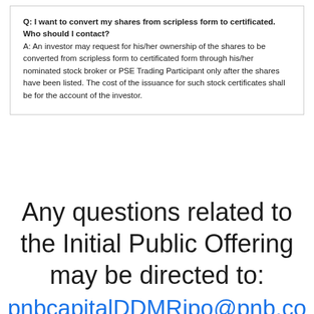Q: I want to convert my shares from scripless form to certificated. Who should I contact? A: An investor may request for his/her ownership of the shares to be converted from scripless form to certificated form through his/her nominated stock broker or PSE Trading Participant only after the shares have been listed. The cost of the issuance for such stock certificates shall be for the account of the investor.
Any questions related to the Initial Public Offering may be directed to:
pnbcapitalDDMRipo@pnb.co